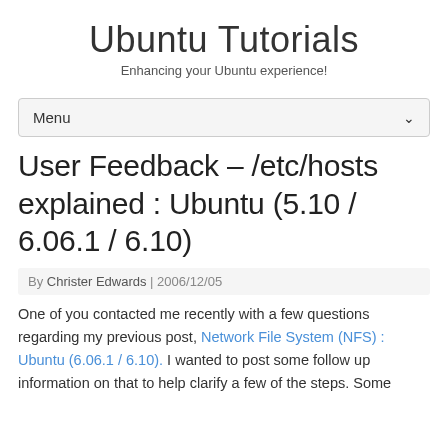Ubuntu Tutorials
Enhancing your Ubuntu experience!
Menu
User Feedback – /etc/hosts explained : Ubuntu (5.10 / 6.06.1 / 6.10)
By Christer Edwards | 2006/12/05
One of you contacted me recently with a few questions regarding my previous post, Network File System (NFS) : Ubuntu (6.06.1 / 6.10). I wanted to post some follow up information on that to help clarify a few of the steps. Some of the steps...